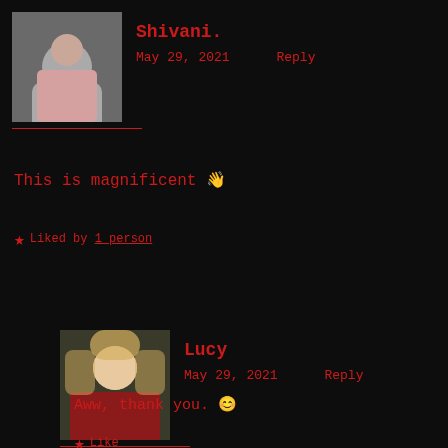[Figure (photo): Profile photo of Shivani - young woman]
Shivani.
May 29, 2021    Reply
This is magnificent 👋
★ Liked by 1 person
[Figure (photo): Profile photo of Lucy - young woman with blonde hair]
Lucy
May 29, 2021    Reply
Aww, thank you. 😊
★ Like